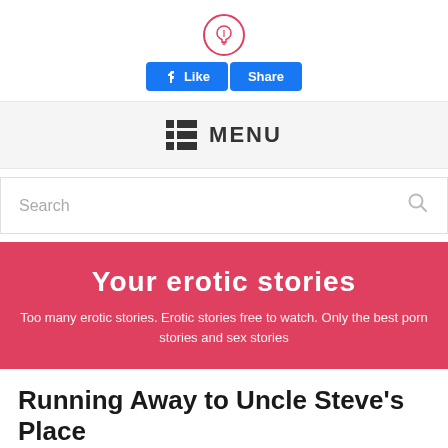[Figure (logo): Red circle with a lightbulb icon inside]
[Figure (screenshot): Facebook Like and Share buttons in blue]
MENU
Search
Your erotic stories
Too many erotic stories. Erotic stories free to watch. Only the best porn stories and sex stories
Running Away to Uncle Steve’s Place
Category: Incest